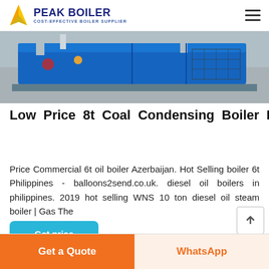PEAK BOILER COST-EFFECTIVE BOILER SUPPLIER
[Figure (photo): Industrial boiler equipment photograph showing blue machinery with pipes and mechanical components]
Low Price 8t Coal Condensing Boiler Estonia
Price Commercial 6t oil boiler Azerbaijan. Hot Selling boiler 6t Philippines - balloons2send.co.uk. diesel oil boilers in philippines. 2019 hot selling WNS 10 ton diesel oil steam boiler | Gas The
Get price
Get a Quote | WhatsApp